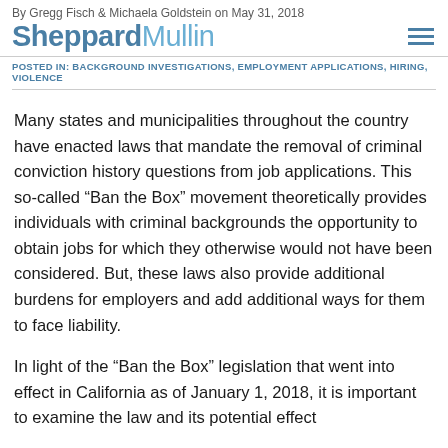By Gregg Fisch & Michaela Goldstein on May 31, 2018
[Figure (logo): Sheppard Mullin law firm logo with hamburger menu icon]
POSTED IN: BACKGROUND INVESTIGATIONS, EMPLOYMENT APPLICATIONS, HIRING, VIOLENCE
Many states and municipalities throughout the country have enacted laws that mandate the removal of criminal conviction history questions from job applications. This so-called “Ban the Box” movement theoretically provides individuals with criminal backgrounds the opportunity to obtain jobs for which they otherwise would not have been considered. But, these laws also provide additional burdens for employers and add additional ways for them to face liability.
In light of the “Ban the Box” legislation that went into effect in California as of January 1, 2018, it is important to examine the law and its potential effect